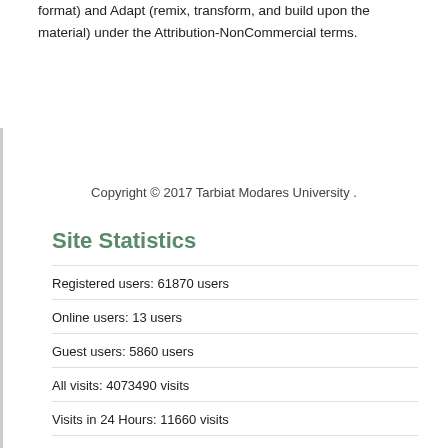format) and Adapt (remix, transform, and build upon the material) under the Attribution-NonCommercial terms.
Copyright © 2017 Tarbiat Modares University .
Site Statistics
Registered users: 61870 users
Online users: 13 users
Guest users: 5860 users
All visits: 4073490 visits
Visits in 24 Hours: 11660 visits